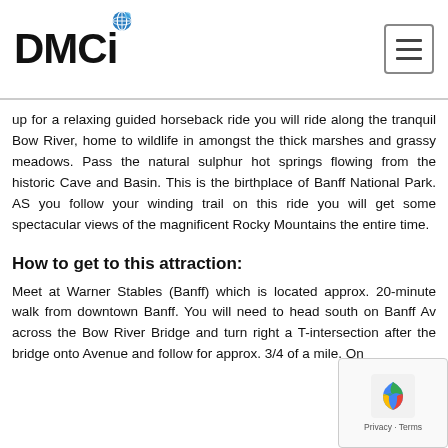DMCi
up for a relaxing guided horseback ride you will ride along the tranquil Bow River, home to wildlife in amongst the thick marshes and grassy meadows. Pass the natural sulphur hot springs flowing from the historic Cave and Basin. This is the birthplace of Banff National Park. AS you follow your winding trail on this ride you will get some spectacular views of the magnificent Rocky Mountains the entire time.
How to get to this attraction:
Meet at Warner Stables (Banff) which is located approx. 20-minute walk from downtown Banff. You will need to head south on Banff Av across the Bow River Bridge and turn right a T-intersection after the bridge onto Avenue and follow for approx. 3/4 of a mile. On